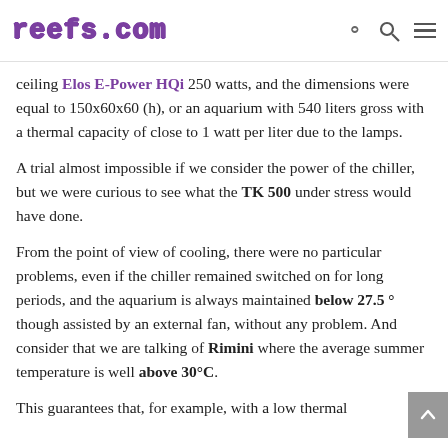reefs.com
ceiling Elos E-Power HQi 250 watts, and the dimensions were equal to 150x60x60 (h), or an aquarium with 540 liters gross with a thermal capacity of close to 1 watt per liter due to the lamps.
A trial almost impossible if we consider the power of the chiller, but we were curious to see what the TK 500 under stress would have done.
From the point of view of cooling, there were no particular problems, even if the chiller remained switched on for long periods, and the aquarium is always maintained below 27.5 ° though assisted by an external fan, without any problem. And consider that we are talking of Rimini where the average summer temperature is well above 30°C.
This guarantees that, for example, with a low thermal